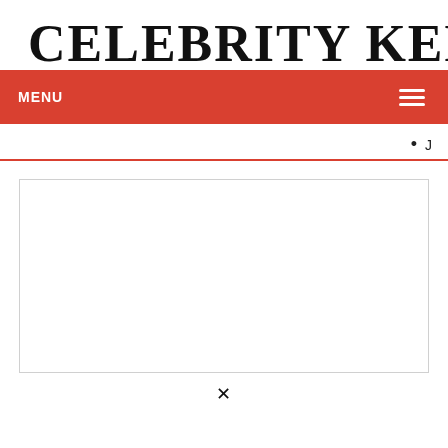CELEBRITY KEEP
MENU
• J
[Figure (other): Large white rectangular placeholder image with a light gray border]
X